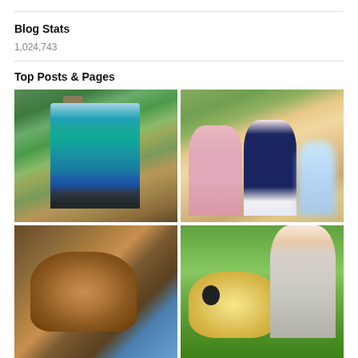Blog Stats
1,024,743
Top Posts & Pages
[Figure (photo): Older woman in teal patterned top standing outdoors next to a tree trunk with green foliage background]
[Figure (photo): Family photo with a man in pink shirt and woman in navy dress with a dog; children's faces are pixelated/blurred]
[Figure (photo): Close-up of a saddle or equestrian tack with blue jeans visible]
[Figure (photo): Man on grass with a golden/light colored dog with black spot]